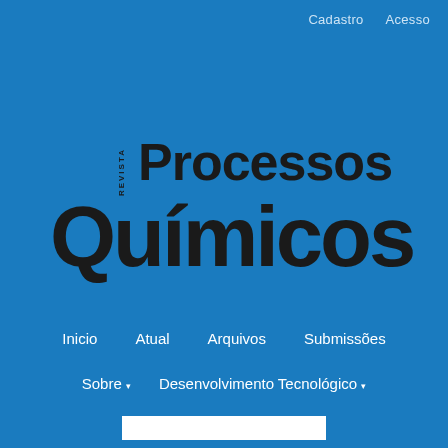Cadastro    Acesso
[Figure (logo): Revista Processos Químicos journal logo — 'REVISTA' in small vertical text, 'Processos' in large bold text, and 'Químicos' in very large heavy black text, all on a blue background]
Inicio
Atual
Arquivos
Submissões
Sobre ▾
Desenvolvimento Tecnológico ▾